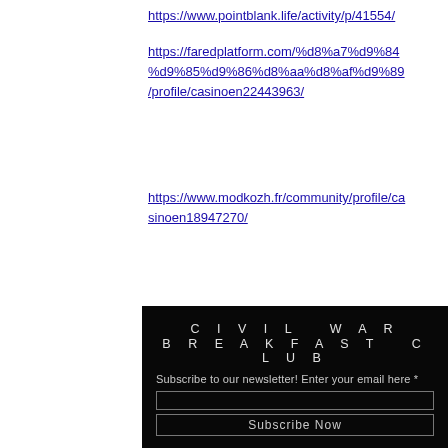https://www.pointblank.life/activity/p/41554/
https://faredplatform.com/%d8%a7%d9%84%d9%85%d9%86%d8%aa%d8%af%d9%89/profile/casinoen22443963/
https://www.modkozh.fr/community/profile/casinoen18947270/
[Figure (other): Civil War Breakfast Club newsletter subscription widget with dark background, title text 'CIVIL WAR BREAKFAST CLUB', a subscription prompt, email input field, and Subscribe Now button.]